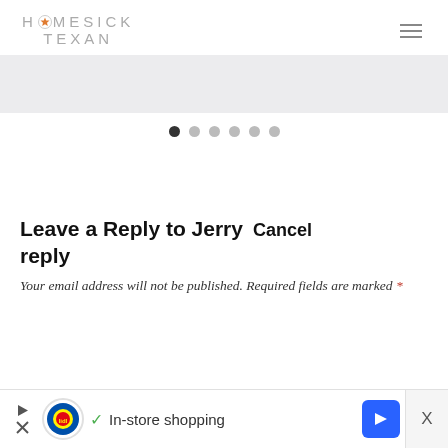HOMESICK TEXAN
[Figure (screenshot): Slider/carousel area with light gray background]
[Figure (infographic): Pagination dots: 6 dots, first one active (dark), rest light gray]
Leave a Reply to Jerry  Cancel reply
Your email address will not be published. Required fields are marked *
[Figure (screenshot): Ad bar at bottom: Lidl in-store shopping advertisement with play, X close, and navigation arrow icons]